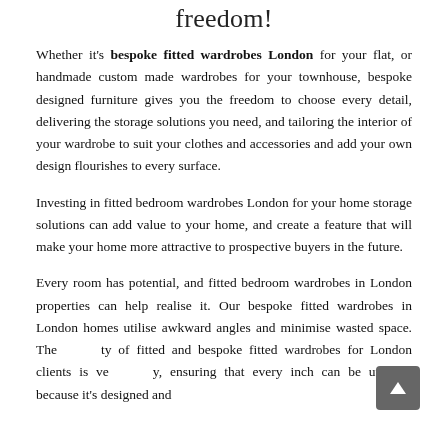freedom!
Whether it's bespoke fitted wardrobes London for your flat, or handmade custom made wardrobes for your townhouse, bespoke designed furniture gives you the freedom to choose every detail, delivering the storage solutions you need, and tailoring the interior of your wardrobe to suit your clothes and accessories and add your own design flourishes to every surface.
Investing in fitted bedroom wardrobes London for your home storage solutions can add value to your home, and create a feature that will make your home more attractive to prospective buyers in the future.
Every room has potential, and fitted bedroom wardrobes in London properties can help realise it. Our bespoke fitted wardrobes in London homes utilise awkward angles and minimise wasted space. The versatility of fitted and bespoke fitted wardrobes for London clients is very, ensuring that every inch can be utilised, because it's designed and tailored entirely to your specifications.